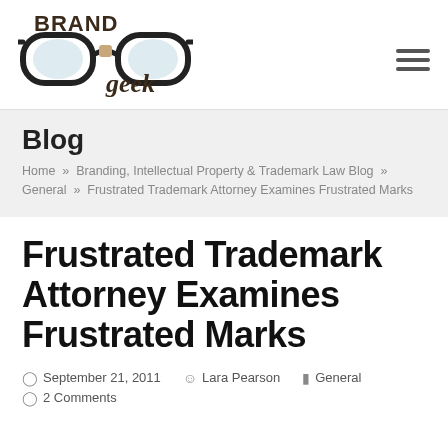[Figure (logo): Brand Geek logo with glasses illustration and stylized text]
Blog
Home » Branding, Intellectual Property & Trademark Law Blog » General » Frustrated Trademark Attorney Examines Frustrated Marks
Frustrated Trademark Attorney Examines Frustrated Marks
September 21, 2011   Lara Pearson   General
2 Comments